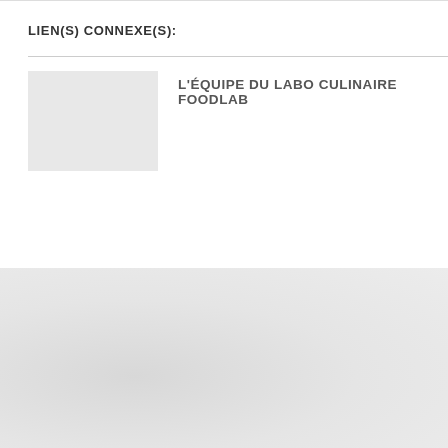LIEN(S) CONNEXE(S):
L'ÉQUIPE DU LABO CULINAIRE FOODLAB
LIENS PRATIQUES  Billetterie  Louer nos espaces  Offres d'emplois  Partenaires  Soutenir la SAT  DÉCOUVRIR LA SAT  À propos  Satosphère  Scenic Téléprésence  Symposium CX  Satellite